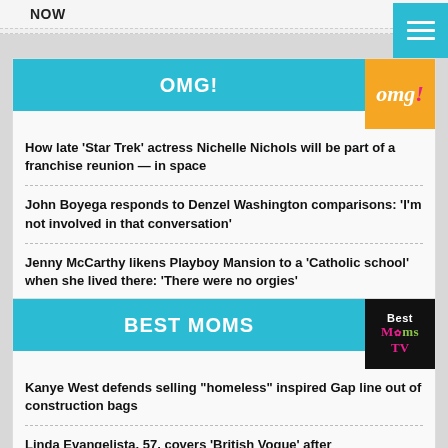NOW
[Figure (other): Hamburger menu icon button in teal/cyan color]
OMG!
[Figure (logo): OMG! logo on orange background]
How late 'Star Trek' actress Nichelle Nichols will be part of a franchise reunion — in space
John Boyega responds to Denzel Washington comparisons: 'I'm not involved in that conversation'
Jenny McCarthy likens Playboy Mansion to a 'Catholic school' when she lived there: 'There were no orgies'
BEST MOMS
[Figure (logo): Best Moms TV logo on black background]
Kanye West defends selling "homeless" inspired Gap line out of construction bags
Linda Evangelista, 57, covers 'British Vogue' after CoolSculpting incident: 'I'm trying to love myself as I am'